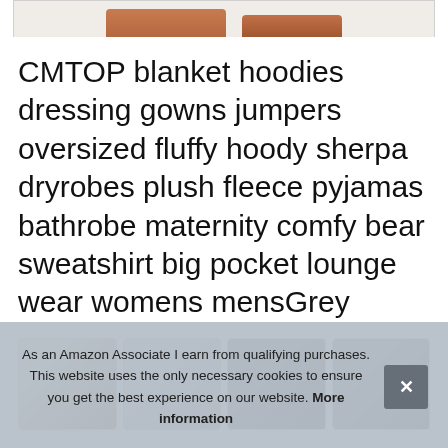[Figure (photo): Top portion of a product image showing skin/clothing at the top edge, partially visible]
CMTOP blanket hoodies dressing gowns jumpers oversized fluffy hoody sherpa dryrobes plush fleece pyjamas bathrobe maternity comfy bear sweatshirt big pocket lounge wear womens mensGrey
[Figure (photo): Four product thumbnail images showing people wearing blanket hoodies in grey]
As an Amazon Associate I earn from qualifying purchases. This website uses the only necessary cookies to ensure you get the best experience on our website. More information